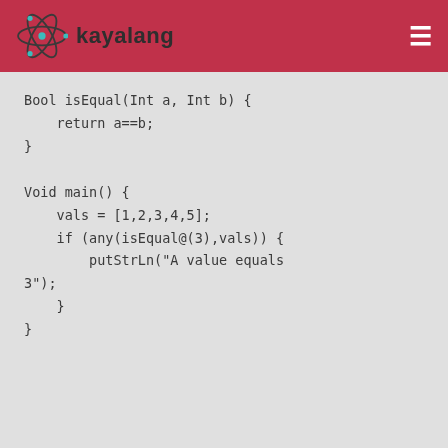kayalang
Bool isEqual(Int a, Int b) {
    return a==b;
}

Void main() {
    vals = [1,2,3,4,5];
    if (any(isEqual@(3),vals)) {
        putStrLn("A value equals 3");
    }
}